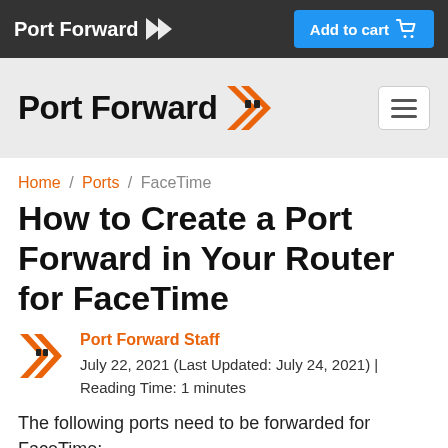Port Forward | Add to cart
[Figure (logo): Port Forward logo with orange chevron arrows and hamburger menu button]
Home / Ports / FaceTime
How to Create a Port Forward in Your Router for FaceTime
Port Forward Staff
July 22, 2021 (Last Updated: July 24, 2021) | Reading Time: 1 minutes
The following ports need to be forwarded for FaceTime:
FaceTime - PC